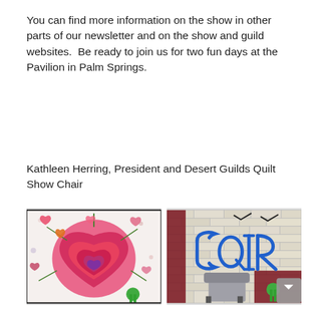You can find more information on the show in other parts of our newsletter and on the show and guild websites.  Be ready to join us for two fun days at the Pavilion in Palm Springs.
Kathleen Herring, President and Desert Guilds Quilt Show Chair
[Figure (photo): Colorful quilt with large heart design surrounded by smaller hearts and floral elements, with a green ribbon award at the bottom right]
[Figure (photo): Quilt displayed on a white brick wall showing graffiti-style letters in blue reading 'CQIR' with a chair in the foreground and a green ribbon award]